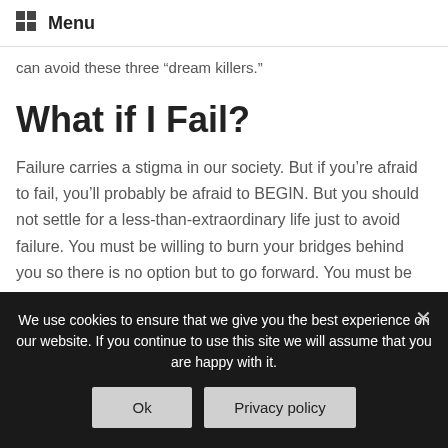Menu
can avoid these three “dream killers.”
What if I Fail?
Failure carries a stigma in our society. But if you’re afraid to fail, you’ll probably be afraid to BEGIN. But you should not settle for a less-than-extraordinary life just to avoid failure. You must be willing to burn your bridges behind you so there is no option but to go forward. You must be willing to fling yourself off the
We use cookies to ensure that we give you the best experience on our website. If you continue to use this site we will assume that you are happy with it.